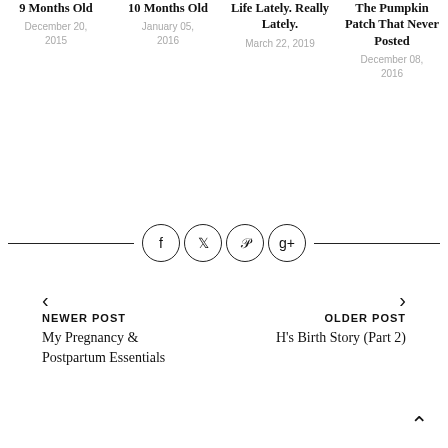9 Months Old | December 20, 2015
10 Months Old | January 05, 2016
Life Lately. Really Lately. | March 22, 2019
The Pumpkin Patch That Never Posted | December 08, 2016
[Figure (other): Social media share icons row with Facebook, Twitter, Pinterest, and Google+ circle buttons flanked by horizontal lines]
< NEWER POST
My Pregnancy & Postpartum Essentials
> OLDER POST
H's Birth Story (Part 2)
^ (back to top arrow)